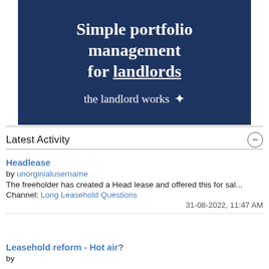[Figure (illustration): Advertisement banner for 'the landlord works' with dark navy background. Text reads 'Simple portfolio management for landlords' with 'the landlord works' brand name and a star logo.]
Latest Activity
Headlease
by unorginialusername
The freeholder has created a Head lease and offered this for sal...
Channel: Long Leasehold Questions
31-08-2022, 11:47 AM
Leasehold reform - Hot air?